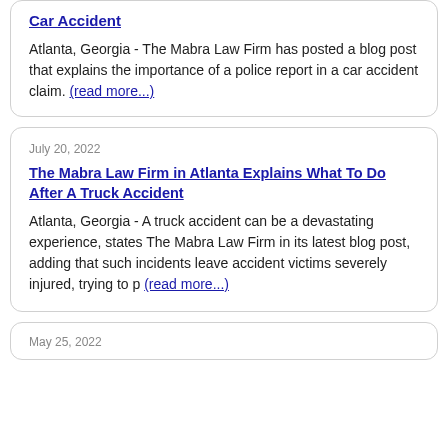Car Accident
Atlanta, Georgia - The Mabra Law Firm has posted a blog post that explains the importance of a police report in a car accident claim. (read more...)
July 20, 2022
The Mabra Law Firm in Atlanta Explains What To Do After A Truck Accident
Atlanta, Georgia - A truck accident can be a devastating experience, states The Mabra Law Firm in its latest blog post, adding that such incidents leave accident victims severely injured, trying to p (read more...)
May 25, 2022